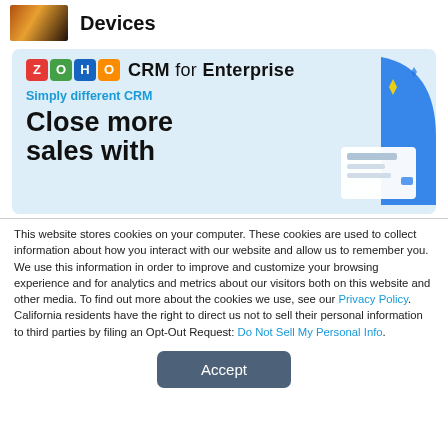[Figure (photo): Small thumbnail image of people, warm orange/dark tones]
Devices
[Figure (screenshot): Zoho CRM for Enterprise advertisement banner. Blue background. Shows Zoho logo, text 'Simply different CRM', 'Close more sales with', and decorative UI elements on the right.]
This website stores cookies on your computer. These cookies are used to collect information about how you interact with our website and allow us to remember you. We use this information in order to improve and customize your browsing experience and for analytics and metrics about our visitors both on this website and other media. To find out more about the cookies we use, see our Privacy Policy. California residents have the right to direct us not to sell their personal information to third parties by filing an Opt-Out Request: Do Not Sell My Personal Info.
Accept